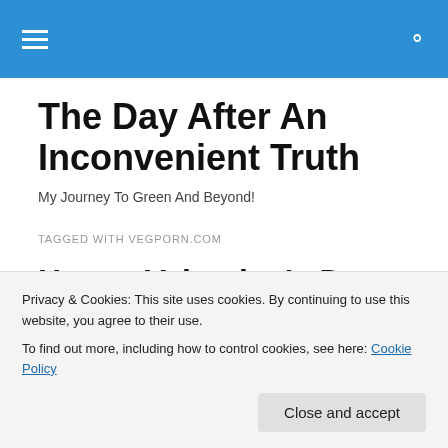The Day After An Inconvenient Truth
My Journey To Green And Beyond!
TAGGED WITH VEGPORN.COM
Happy Valentine's Day
Privacy & Cookies: This site uses cookies. By continuing to use this website, you agree to their use.
To find out more, including how to control cookies, see here: Cookie Policy
Close and accept